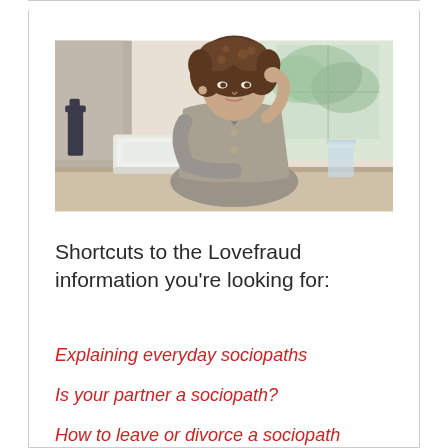[Figure (photo): A woman with curly brown hair sitting at a desk with a white laptop, resting her head on her hand, looking thoughtful. A glass of water is on the right side of the desk. Background shows a window with natural light and shelving.]
Shortcuts to the Lovefraud information you're looking for:
Explaining everyday sociopaths
Is your partner a sociopath?
How to leave or divorce a sociopath